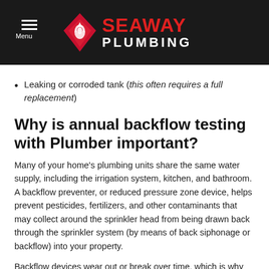Seaway Plumbing
Leaking or corroded tank (this often requires a full replacement)
Why is annual backflow testing with Plumber important?
Many of your home's plumbing units share the same water supply, including the irrigation system, kitchen, and bathroom. A backflow preventer, or reduced pressure zone device, helps prevent pesticides, fertilizers, and other contaminants that may collect around the sprinkler head from being drawn back through the sprinkler system (by means of back siphonage or backflow) into your property.
Backflow devices wear out or break over time, which is why